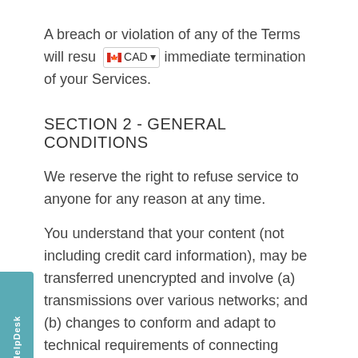A breach or violation of any of the Terms will resu [CAD] immediate termination of your Services.
SECTION 2 - GENERAL CONDITIONS
We reserve the right to refuse service to anyone for any reason at any time.
You understand that your content (not including credit card information), may be transferred unencrypted and involve (a) transmissions over various networks; and (b) changes to conform and adapt to technical requirements of connecting networks or devices. Credit card information is always encrypted during transfer over networks.
You agree not to reproduce, duplicate, copy, sell, resell